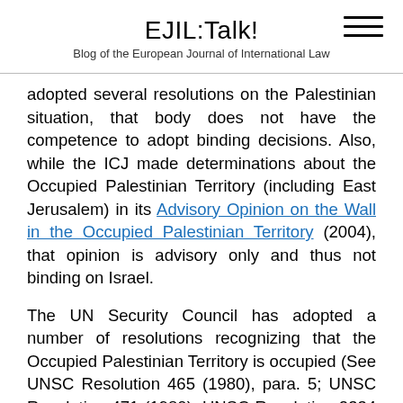EJIL:Talk!
Blog of the European Journal of International Law
adopted several resolutions on the Palestinian situation, that body does not have the competence to adopt binding decisions. Also, while the ICJ made determinations about the Occupied Palestinian Territory (including East Jerusalem) in its Advisory Opinion on the Wall in the Occupied Palestinian Territory (2004), that opinion is advisory only and thus not binding on Israel.
The UN Security Council has adopted a number of resolutions recognizing that the Occupied Palestinian Territory is occupied (See UNSC Resolution 465 (1980), para. 5; UNSC Resolution 471 (1980), UNSC Resolution 2334 (2016)).